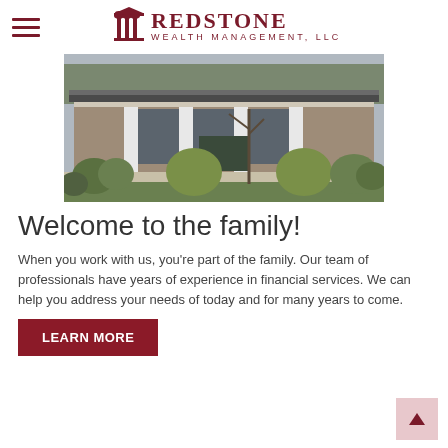Redstone Wealth Management, LLC
[Figure (photo): Exterior photograph of the Redstone Wealth Management office building — a single-story brick building with white columns, large windows, and landscaped bushes and lawn in the foreground.]
Welcome to the family!
When you work with us, you're part of the family. Our team of professionals have years of experience in financial services. We can help you address your needs of today and for many years to come.
LEARN MORE